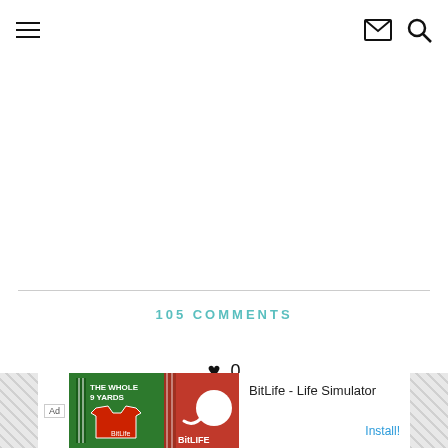Navigation menu, mail icon, search icon
105 COMMENTS
♥ 0
[Figure (infographic): Advertisement banner for BitLife - Life Simulator app with green and red game imagery, Ad badge, and Install button]